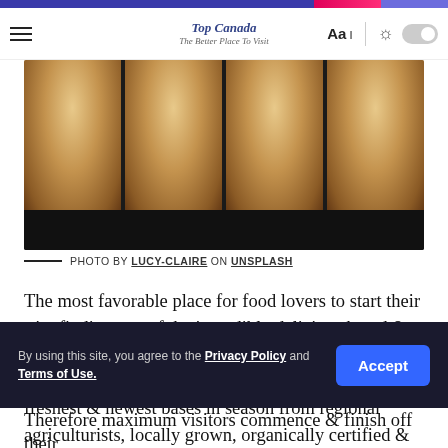Navigation bar with hamburger menu, Top Canada logo, Aa font control, sun/toggle
[Figure (photo): Close-up photo of English muffins or baked rolls on a dark baking tray, viewed from above]
— PHOTO BY LUCY-CLAIRE ON UNSPLASH
The most favorable place for food lovers to start their trip, finding one of the incredibly delicious bread & baked interests one can hog on.
A Bread Affair is recognized for utilizing just the freshest & newest bases in season from regional agriculturists, locally grown, organically certified & delicious of all.
Everything is prepared by hand & is artisan crafted. The bread is made without preservatives, wielding slow fermentation to lure the relishes out of every loaf & they
By using this site, you agree to the Privacy Policy and Terms of Use.
Therefore maximum visitors commence & finish off their